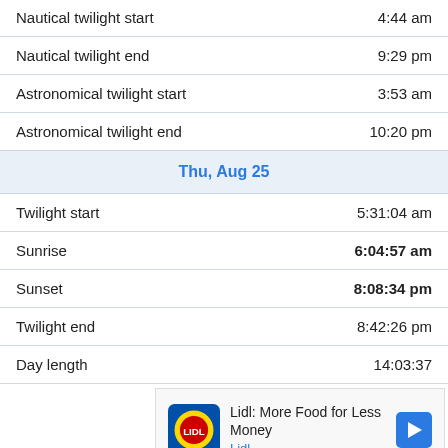| Event | Time |
| --- | --- |
| Nautical twilight start | 4:44 am |
| Nautical twilight end | 9:29 pm |
| Astronomical twilight start | 3:53 am |
| Astronomical twilight end | 10:20 pm |
| Thu, Aug 25 |  |
| Twilight start | 5:31:04 am |
| Sunrise | 6:04:57 am |
| Sunset | 8:08:34 pm |
| Twilight end | 8:42:26 pm |
| Day length | 14:03:37 |
[Figure (other): Lidl advertisement banner: Lidl logo, text 'Lidl: More Food for Less Money', 'Lidl' in blue, navigation arrow icon, play and close controls.]